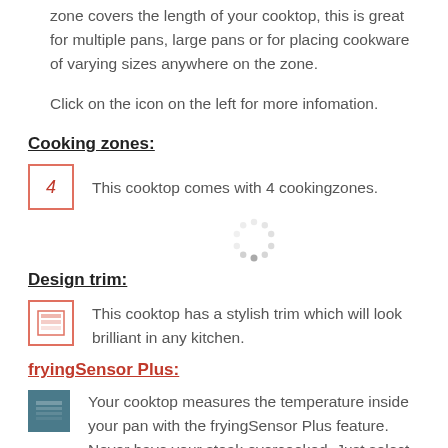zone covers the length of your cooktop, this is great for multiple pans, large pans or for placing cookware of varying sizes anywhere on the zone.
Click on the icon on the left for more infomation.
Cooking zones:
This cooktop comes with 4 cookingzones.
Design trim:
This cooktop has a stylish trim which will look brilliant in any kitchen.
fryingSensor Plus:
Your cooktop measures the temperature inside your pan with the fryingSensor Plus feature. Never have your steak overcooked. Just select the desired setting and let the Siemens fryingSensor Plus do the rest. Pans to use in